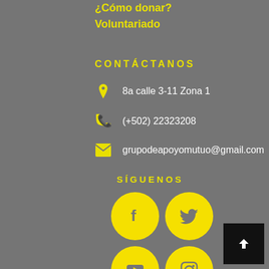¿Cómo donar?
Voluntariado
CONTÁCTANOS
8a calle 3-11 Zona 1
(+502) 22323208
grupodeapoyomutuo@gmail.com
SÍGUENOS
[Figure (infographic): Four social media icons in yellow circles: Facebook, Twitter, YouTube, Instagram arranged in 2x2 grid]
[Figure (other): Black square button with white upward arrow for back to top navigation]